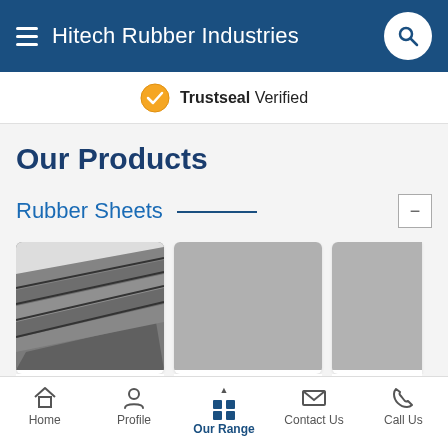Hitech Rubber Industries
Trustseal Verified
Our Products
Rubber Sheets
[Figure (photo): EPDM Rubber sheets stacked at an angle, dark grey color]
EPDM Rubb...
[Figure (photo): Neoprene Sheet - plain grey surface]
Neoprene Sh...
[Figure (photo): Pure Neoprene product - partial view, grey]
Pure Neopre
Home   Profile   Our Range   Contact Us   Call Us